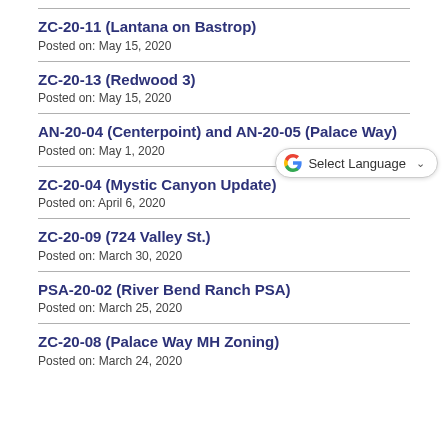ZC-20-11 (Lantana on Bastrop)
Posted on: May 15, 2020
ZC-20-13 (Redwood 3)
Posted on: May 15, 2020
AN-20-04 (Centerpoint) and AN-20-05 (Palace Way)
Posted on: May 1, 2020
ZC-20-04 (Mystic Canyon Update)
Posted on: April 6, 2020
ZC-20-09 (724 Valley St.)
Posted on: March 30, 2020
PSA-20-02 (River Bend Ranch PSA)
Posted on: March 25, 2020
ZC-20-08 (Palace Way MH Zoning)
Posted on: March 24, 2020